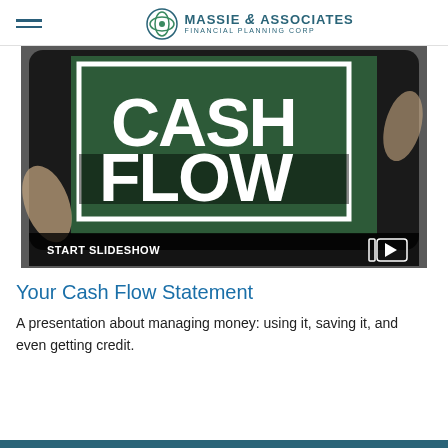Massie & Associates Financial Planning Corp
[Figure (screenshot): A tablet displaying 'CASH FLOW' text on a dark green background with white lettering, with a 'START SLIDESHOW' button bar at the bottom]
Your Cash Flow Statement
A presentation about managing money: using it, saving it, and even getting credit.